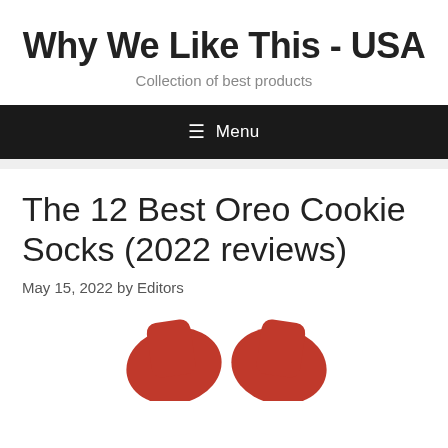Why We Like This - USA
Collection of best products
≡ Menu
The 12 Best Oreo Cookie Socks (2022 reviews)
May 15, 2022 by Editors
[Figure (photo): Partial view of orange/red socks at the bottom of the page]